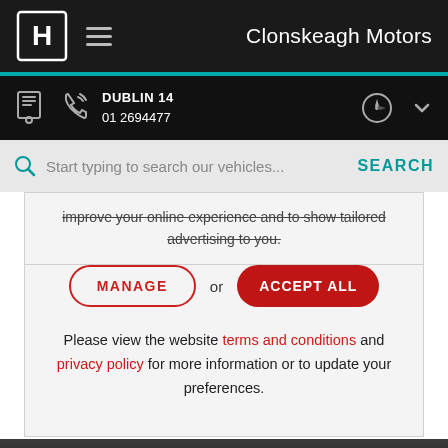Clonskeagh Motors
DUBLIN 14
01 2694477
Start typing to search our vehicles...
improve your online experience and to show tailored advertising to you.
MANAGE or ACCEPT ALL
Please view the website terms and conditions and privacy policy for more information or to update your preferences.
[Figure (photo): Honda car driving on a road, dark photo strip at the bottom of the page]